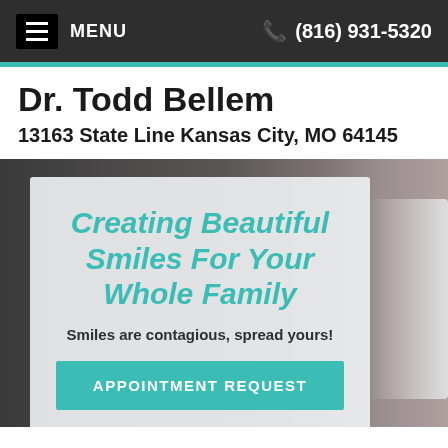MENU  (816) 931-5320
Dr. Todd Bellem
13163 State Line Kansas City, MO 64145
[Figure (photo): Background photo of a smiling person, partially visible on the right side of the hero section.]
Creating Beautiful Smiles For Your Whole Family
Smiles are contagious, spread yours!
APPOINTMENT REQUEST